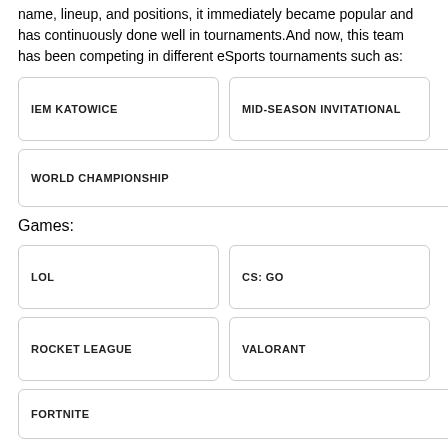name, lineup, and positions, it immediately became popular and has continuously done well in tournaments.And now, this team has been competing in different eSports tournaments such as:
IEM KATOWICE
MID-SEASON INVITATIONAL
WORLD CHAMPIONSHIP
Games:
LOL
CS: GO
ROCKET LEAGUE
VALORANT
FORTNITE